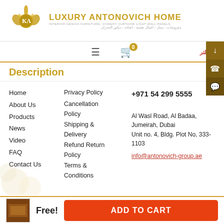LUXURY ANTONOVICH HOME — INTERIOR DESIGN FURNITURE, JOINERY CURTAINS LIGHT WALL PANELS
Description
Home
About Us
Products
News
Video
FAQ
Contact Us
Privacy Policy
Cancellation Policy
Shipping & Delivery
Refund Return Policy
Terms & Conditions
+971 54 299 5555
Al Wasl Road, Al Badaa, Jumeirah, Dubai
Unit no. 4, Bldg. Plot No, 333-1103
info@antonovich-group.ae
Free!
ADD TO CART